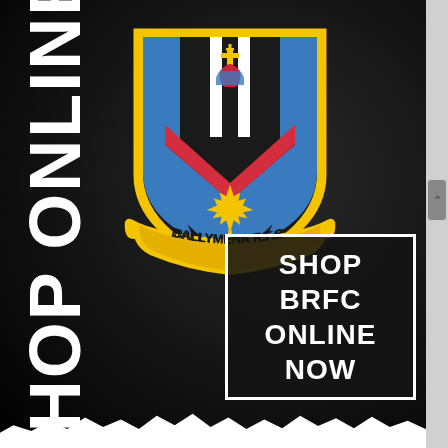[Figure (logo): Ballymena RFC club crest/badge with blue, black, white and yellow shield featuring a red chevron, maple leaf, hand holding cross, on dark background]
SHOP ONLINE
SHOP BRFC ONLINE NOW